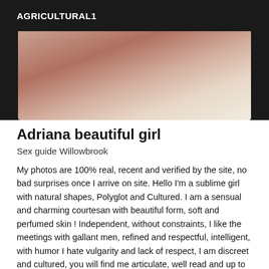AGRICULTURAL1
[Figure (photo): Partial photo of a person, close-up, warm skin tones with beige/cream background]
Adriana beautiful girl
Sex guide Willowbrook
My photos are 100% real, recent and verified by the site, no bad surprises once I arrive on site. Hello I'm a sublime girl with natural shapes, Polyglot and Cultured. I am a sensual and charming courtesan with beautiful form, soft and perfumed skin ! Independent, without constraints, I like the meetings with gallant men, refined and respectful, intelligent, with humor I hate vulgarity and lack of respect, I am discreet and cultured, you will find me articulate, well read and up to date on the news If this is the case, I offer a moment of intimacy and relaxation in a harmonious atmosphere. an erotic